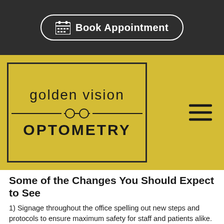[Figure (screenshot): Book Appointment button with calendar icon on dark background]
[Figure (logo): Golden Vision Optometry logo with glasses icon on yellow background]
Some of the Changes You Should Expect to See
1) Signage throughout the office spelling out new steps and protocols to ensure maximum safety for staff and patients alike.
2) Social distancing will be the new norm. Packed waiting rooms will be a thing of the past. Instead, clinics will be spacing out seating to reduce capacity and scheduling in longer intervals to minimize patient interactions. Some clinics